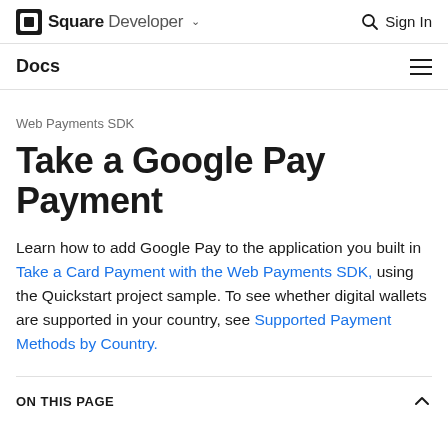Square Developer ∨   🔍 Sign In
Docs
Web Payments SDK
Take a Google Pay Payment
Learn how to add Google Pay to the application you built in Take a Card Payment with the Web Payments SDK, using the Quickstart project sample. To see whether digital wallets are supported in your country, see Supported Payment Methods by Country.
ON THIS PAGE